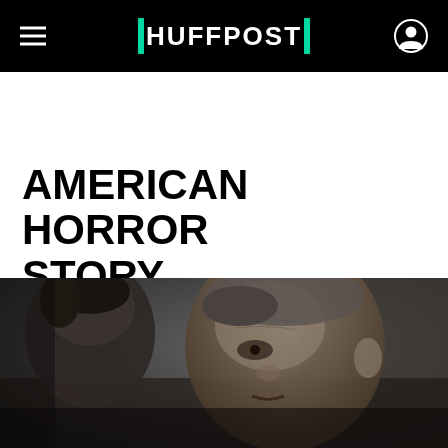HUFFPOST
AMERICAN HORROR STORY
[Figure (photo): Close-up dark/desaturated photo of two people, one man with a distressed expression looking at camera, another person in foreground with dark hair, both in dim dramatic lighting]